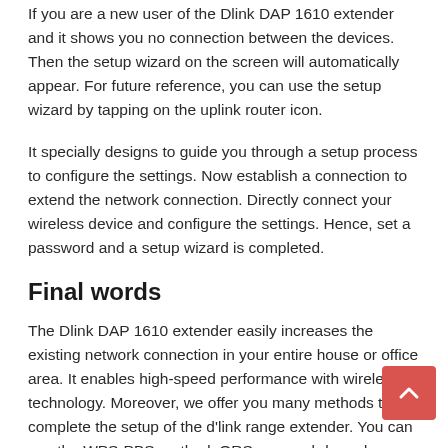If you are a new user of the Dlink DAP 1610 extender and it shows you no connection between the devices. Then the setup wizard on the screen will automatically appear. For future reference, you can use the setup wizard by tapping on the uplink router icon.
It specially designs to guide you through a setup process to configure the settings. Now establish a connection to extend the network connection. Directly connect your wireless device and configure the settings. Hence, set a password and a setup wizard is completed.
Final words
The Dlink DAP 1610 extender easily increases the existing network connection in your entire house or office area. It enables high-speed performance with wireless technology. Moreover, we offer you many methods to complete the setup of the d'link range extender. You can use the WPS-PBS method, QRS app, web-based, or setup wizard. To avoid bad or weak internet connectivity, set up the settings of the device in a proper manner.